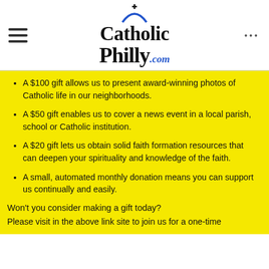CatholicPhilly.com
A $100 gift allows us to present award-winning photos of Catholic life in our neighborhoods.
A $50 gift enables us to cover a news event in a local parish, school or Catholic institution.
A $20 gift lets us obtain solid faith formation resources that can deepen your spirituality and knowledge of the faith.
A small, automated monthly donation means you can support us continually and easily.
Won't you consider making a gift today?
Please visit in the above link site to join us for a one-time donation...